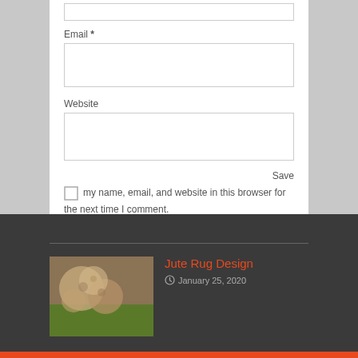Email *
Website
Save my name, email, and website in this browser for the next time I comment.
Post Comment
Jute Rug Design
January 25, 2020